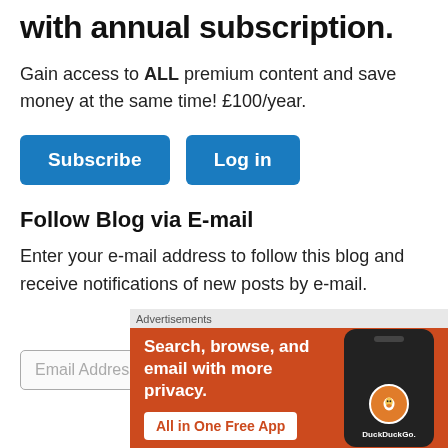with annual subscription.
Gain access to ALL premium content and save money at the same time! £100/year.
[Figure (screenshot): Two blue buttons: Subscribe and Log in]
Follow Blog via E-mail
Enter your e-mail address to follow this blog and receive notifications of new posts by e-mail.
[Figure (screenshot): Email Address input field with close (X) button]
Advertisements
[Figure (screenshot): DuckDuckGo advertisement banner: Search, browse, and email with more privacy. All in One Free App. Shows DuckDuckGo logo on a phone on orange background.]